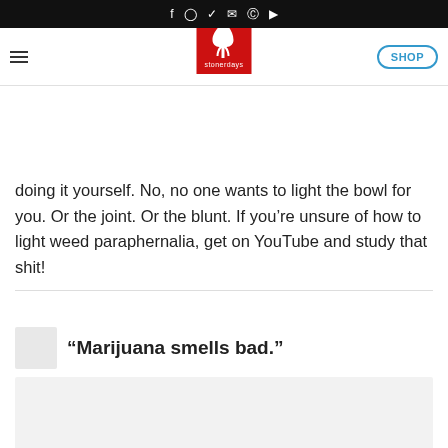Social media icons: f, Instagram, Twitter, email, Pinterest, YouTube | SHOP
definitely had some no… ask me to light the b… them. Unfortunately for th… only way you learn is by doing it yourself. No, no one wants to light the bowl for you. Or the joint. Or the blunt. If you're unsure of how to light weed paraphernalia, get on YouTube and study that shit!
“Marijuana smells bad.”
[Figure (photo): Light gray image placeholder block at the bottom of the page]